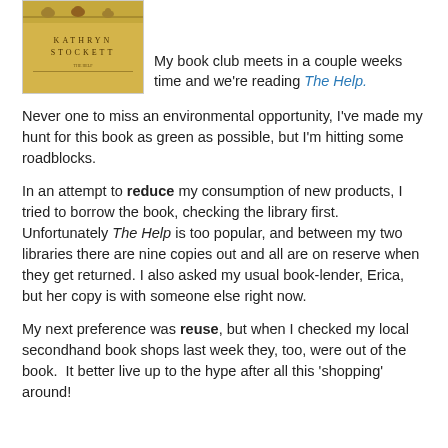[Figure (illustration): Book cover of 'The Help' by Kathryn Stockett — yellow background with birds on a wire and author name in text]
My book club meets in a couple weeks time and we're reading The Help.
Never one to miss an environmental opportunity, I've made my hunt for this book as green as possible, but I'm hitting some roadblocks.
In an attempt to reduce my consumption of new products, I tried to borrow the book, checking the library first. Unfortunately The Help is too popular, and between my two libraries there are nine copies out and all are on reserve when they get returned. I also asked my usual book-lender, Erica, but her copy is with someone else right now.
My next preference was reuse, but when I checked my local secondhand book shops last week they, too, were out of the book.  It better live up to the hype after all this 'shopping' around!